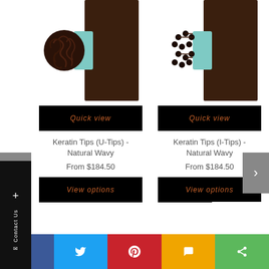[Figure (photo): Keratin U-Tip hair extension close-up showing curly/wavy keratin tip with teal band]
[Figure (photo): Keratin I-Tip hair extension close-up showing stick/tube keratin tips with teal band]
Quick view
Quick view
Keratin Tips (U-Tips) - Natural Wavy
From $184.50
Keratin Tips (I-Tips) - Natural Wavy
From $184.50
View options
View options